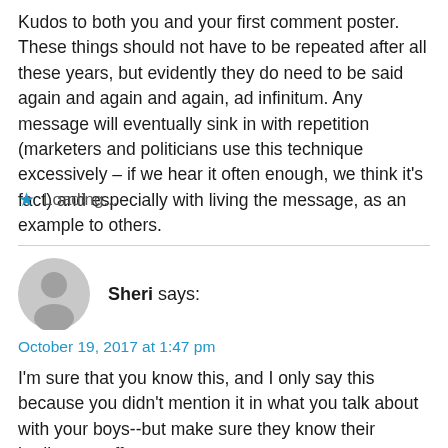Kudos to both you and your first comment poster. These things should not have to be repeated after all these years, but evidently they do need to be said again and again and again, ad infinitum. Any message will eventually sink in with repetition (marketers and politicians use this technique excessively – if we hear it often enough, we think it's fact) and especially with living the message, as an example to others.
Loading...
Sheri says:
October 19, 2017 at 1:47 pm
I'm sure that you know this, and I only say this because you didn't mention it in what you talk about with your boys--but make sure they know their bodies are off-